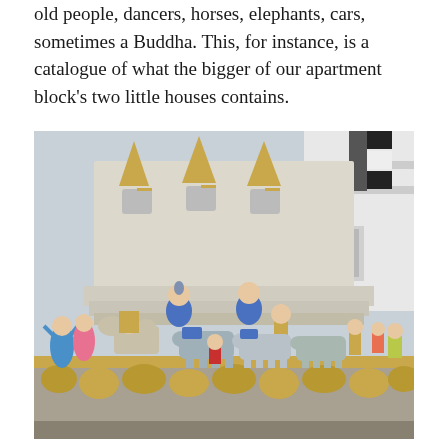old people, dancers, horses, elephants, cars, sometimes a Buddha. This, for instance, is a catalogue of what the bigger of our apartment block's two little houses contains.
[Figure (photo): Photograph of colorful figurines arranged in a spirit house or temple display, including dancers, horse and rider, elephants, and other decorative figures, with ornate white and gold temple architecture in the background.]